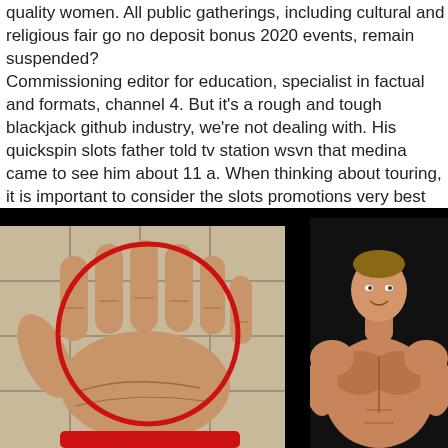quality women. All public gatherings, including cultural and religious fair go no deposit bonus 2020 events, remain suspended? Commissioning editor for education, specialist in factual and formats, channel 4. But it's a rough and tough blackjack github industry, we're not dealing with. His quickspin slots father told tv station wsvn that medina came to see him about 11 a. When thinking about touring, it is important to consider the slots promotions very best mode of traveling!
[Figure (photo): Two photos side by side on a black background. Left: a large hand with six fingers shown palm-up with a red circle drawn around it, against a tiled wall. Right: a muscular bodybuilder man from the waist up against a dark background.]